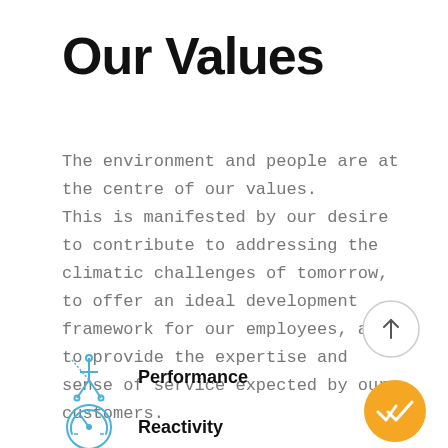Our Values
The environment and people are at the centre of our values. This is manifested by our desire to contribute to addressing the climatic challenges of tomorrow, to offer an ideal development framework for our employees, and to provide the expertise and sense of service expected by our customers.
Performance
Reactivity
[Figure (illustration): Gray circle with upward arrow navigation button]
[Figure (illustration): Gold circle with white double-check mark button]